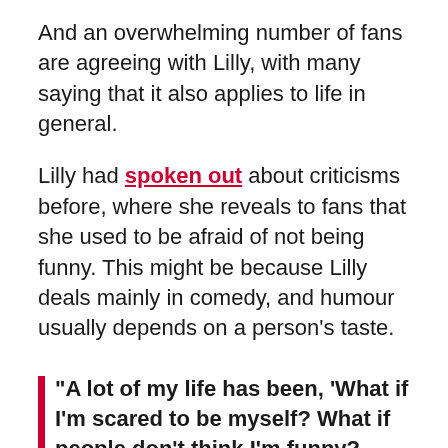And an overwhelming number of fans are agreeing with Lilly, with many saying that it also applies to life in general.
Lilly had spoken out about criticisms before, where she reveals to fans that she used to be afraid of not being funny. This might be because Lilly deals mainly in comedy, and humour usually depends on a person's taste.
"A lot of my life has been, 'What if I'm scared to be myself? What if people don't think I'm funny?